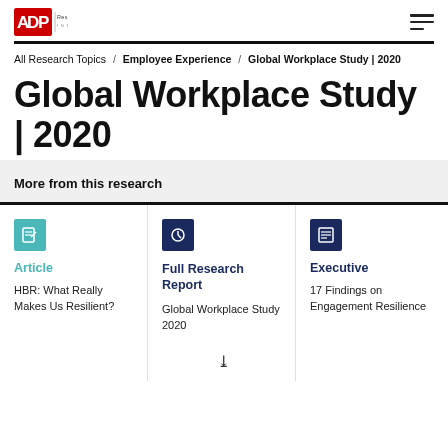ADP Research Institute
All Research Topics / Employee Experience / Global Workplace Study | 2020
Global Workplace Study | 2020
More from this research
Article – HBR: What Really Makes Us Resilient?
Full Research Report – Global Workplace Study 2020
Executive – 17 Findings on Engagement Resilience